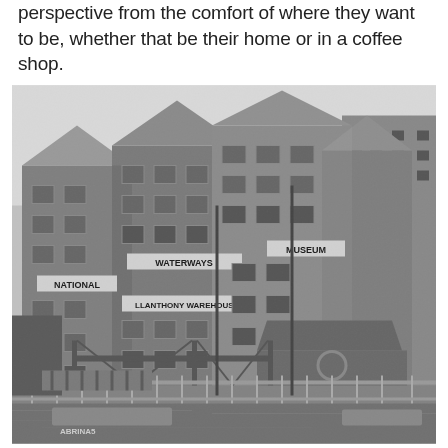perspective from the comfort of where they want to be, whether that be their home or in a coffee shop.
[Figure (photo): Black and white photograph of the National Waterways Museum at Gloucester Docks, showing the Llanthony Warehouse and Museum building, a large multi-storey brick warehouse complex, with a canal dock in the foreground featuring boats, railings, and a swing bridge structure.]